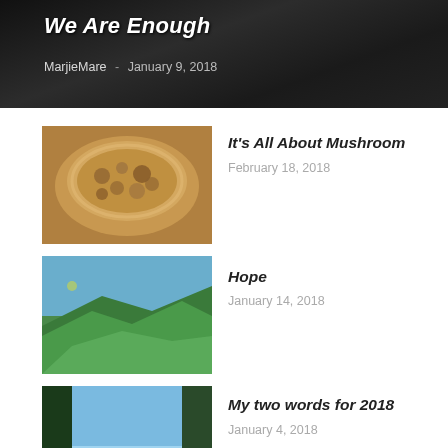We Are Enough
MarjieMare · January 9, 2018
[Figure (photo): Mushroom dish in a white bowl - casserole style]
It's All About Mushroom
February 18, 2018
[Figure (photo): Green mountainous landscape with person hiking]
Hope
January 14, 2018
[Figure (photo): Tropical ocean view with trees and blue water]
My two words for 2018
January 4, 2018
[Figure (photo): Fried plantain and chicken moutard on a white plate]
Chicken Moutard with Fried Plantain
July 8, 2019